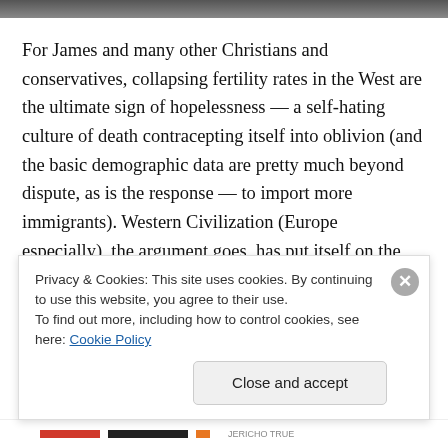[Figure (photo): Top banner image strip, partially visible, dark tones]
For James and many other Christians and conservatives, collapsing fertility rates in the West are the ultimate sign of hopelessness — a self-hating culture of death contracepting itself into oblivion (and the basic demographic data are pretty much beyond dispute, as is the response — to import more immigrants). Western Civilization (Europe especially), the argument goes, has put itself on the road to extinction through its embrace of radical selfdom, feminism and sexual hedonism (and the consequent rights to frustrate fertility and then murder
Privacy & Cookies: This site uses cookies. By continuing to use this website, you agree to their use. To find out more, including how to control cookies, see here: Cookie Policy
Close and accept